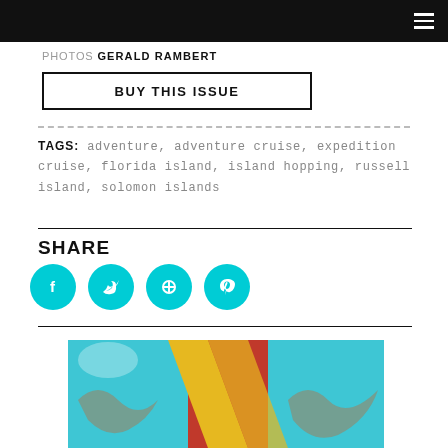PHOTOS GERALD RAMBERT
BUY THIS ISSUE
TAGS: adventure, adventure cruise, expedition cruise, florida island, island hopping, russell island, solomon islands
SHARE
[Figure (infographic): Four teal/cyan circular social media icons: Facebook (f), Twitter (bird), a third icon (circle/link), and Pinterest (p)]
[Figure (photo): Colorful photo showing blue, red, and yellow elements with decorative patterns, partially visible at bottom of page]